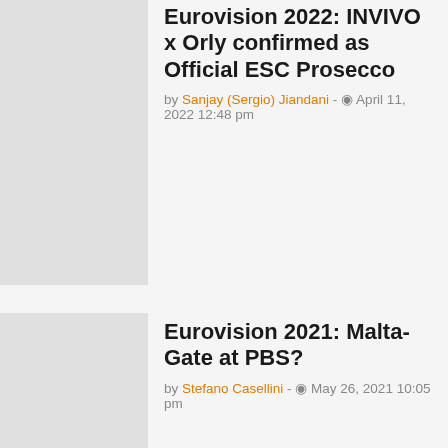Eurovision 2022: INVIVO x Orly confirmed as Official ESC Prosecco
by Sanjay (Sergio) Jiandani - April 11, 2022 12:48 pm
Eurovision 2021: Malta-Gate at PBS?
by Stefano Casellini - May 26, 2021 10:05 pm
Tonight: The Grand Final of the Eurovision Song Contest 2021
by Stefano Casellini - May 22, 2021 9:26 am